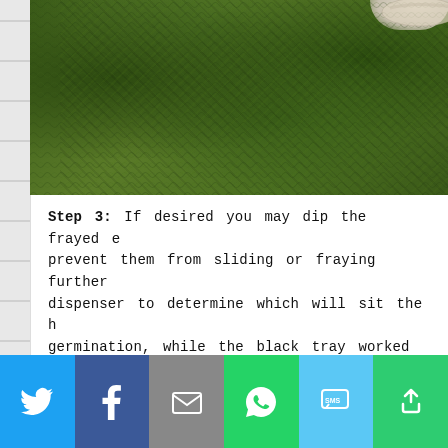[Figure (photo): Close-up photo of green knitted or crocheted texture, possibly moss or yarn, with a rope/cord visible at top right]
Step 3: If desired you may dip the frayed e prevent them from sliding or fraying further dispenser to determine which will sit the h germination, while the black tray worked we and more intricate.
[Figure (photo): Photo of a hand holding or touching what appears to be a seed germination tray with glass container, green plants visible in background]
[Figure (infographic): Social media share bar with Twitter, Facebook, Email, WhatsApp, SMS, and More buttons]